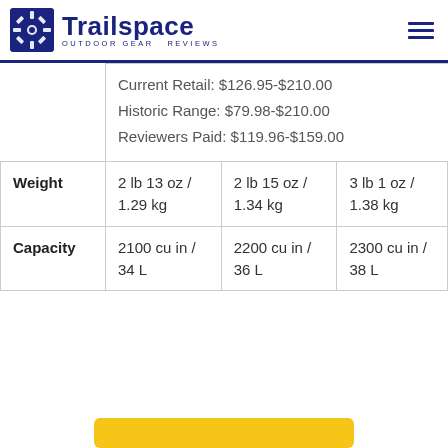Trailspace OUTDOOR GEAR REVIEWS
|  | Col1 | Col2 | Col3 |
| --- | --- | --- | --- |
|  | Current Retail: $126.95-$210.00
Historic Range: $79.98-$210.00
Reviewers Paid: $119.96-$159.00 |  |  |
| Weight | 2 lb 13 oz / 1.29 kg | 2 lb 15 oz / 1.34 kg | 3 lb 1 oz / 1.38 kg |
| Capacity | 2100 cu in / 34 L | 2200 cu in / 36 L | 2300 cu in / 38 L |